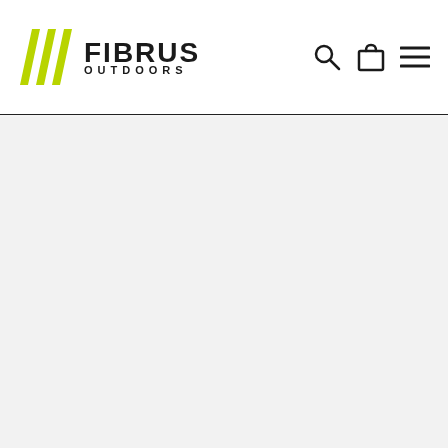[Figure (logo): Fibrus Outdoors logo with green diagonal stripe marks and bold FIBRUS OUTDOORS text, accompanied by search, cart, and hamburger menu icons in the header navigation bar]
[Figure (other): Empty light gray content area below the header]